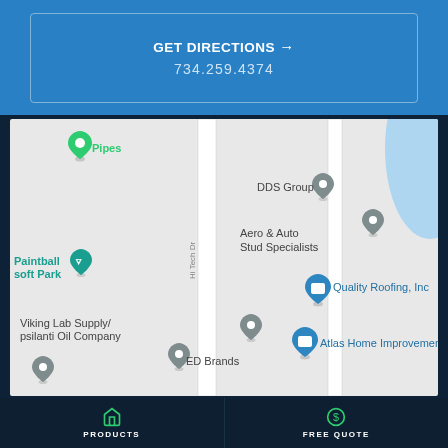GET DIRECTIONS →
734.259.4374
[Figure (map): Google Maps screenshot showing location near Hi Tech Dr, with pins for DDS Group, Aero & Auto Stud Specialists, Quality Roofing Inc, Atlas Home Improvement, Viking Lab Supply/Ypsilanti Oil Company, ED Brands, Paintball soft Park, Pipes]
PRODUCTS  FREE QUOTE